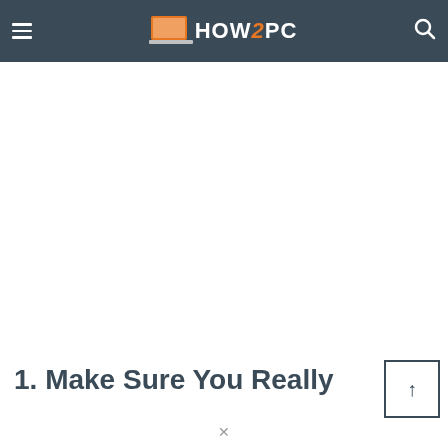HOW2PC
[Figure (screenshot): White advertisement/content area placeholder]
1. Make Sure You Really